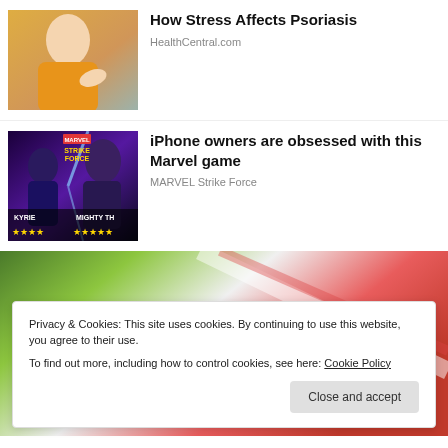[Figure (photo): Woman in yellow sweater scratching her arm, seated on a couch]
How Stress Affects Psoriasis
HealthCentral.com
[Figure (screenshot): Marvel Strike Force game advertisement showing characters Valkyrie and Mighty Thor with star ratings]
iPhone owners are obsessed with this Marvel game
MARVEL Strike Force
[Figure (photo): Colorful background with green, white and red gradient]
Privacy & Cookies: This site uses cookies. By continuing to use this website, you agree to their use.
To find out more, including how to control cookies, see here: Cookie Policy
Close and accept